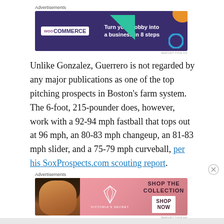[Figure (other): WooCommerce advertisement banner: dark purple background with teal triangle shape, orange shape, blue circle, WooCommerce logo in white box on left, text 'Turn your hobby into a business in 8 steps' in white on right]
Unlike Gonzalez, Guerrero is not regarded by any major publications as one of the top pitching prospects in Boston's farm system. The 6-foot, 215-pounder does, however, work with a 92-94 mph fastball that tops out at 96 mph, an 80-83 mph changeup, an 81-83 mph slider, and a 75-79 mph curveball, per his SoxProspects.com scouting report.
[Figure (other): Victoria's Secret advertisement banner: pink gradient background with woman model on left, Victoria's Secret logo in center, text 'SHOP THE COLLECTION' and 'SHOP NOW' button on right]